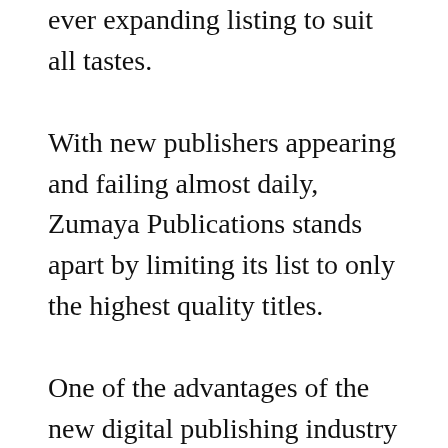ever expanding listing to suit all tastes.
With new publishers appearing and failing almost daily, Zumaya Publications stands apart by limiting its list to only the highest quality titles.
One of the advantages of the new digital publishing industry is that we are able to offer titles from talented authors previously overlooked by